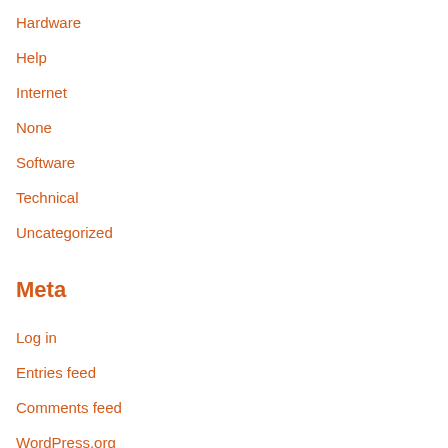Hardware
Help
Internet
None
Software
Technical
Uncategorized
Meta
Log in
Entries feed
Comments feed
WordPress.org
search engine
online shopping
wordpress hosting